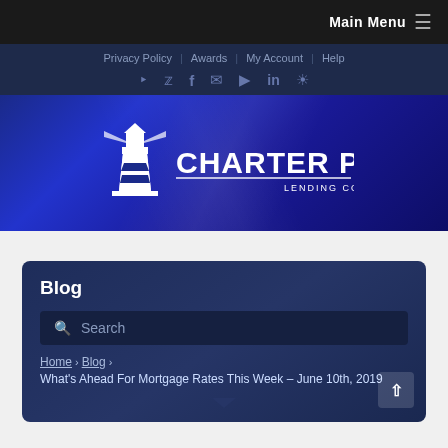Main Menu ≡
Privacy Policy | Awards | My Account | Help
[Figure (logo): Charter Pacific Lending Corp logo with lighthouse icon on blue gradient banner background]
Blog
Search
Home › Blog › What's Ahead For Mortgage Rates This Week – June 10th, 2019